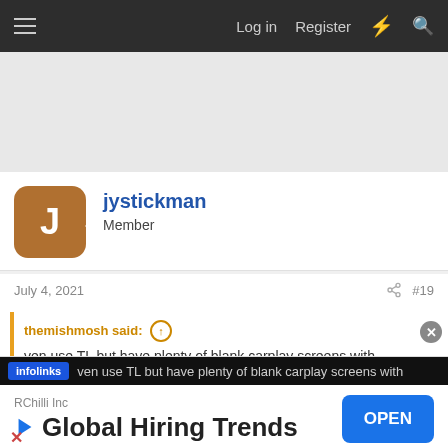Log in  Register
[Figure (other): Gray advertisement banner area]
jystickman
Member
July 4, 2021  #19
themishmosh said: ↑
...ven use TL but have plenty of blank carplay screens with
[Figure (other): Infolinks ad overlay bar and RChilli Inc Global Hiring Trends advertisement with OPEN button]